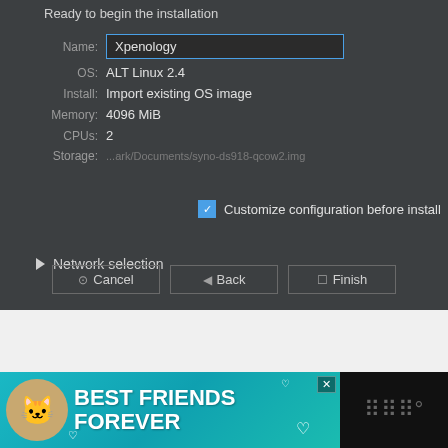Ready to begin the installation
Name: Xpenology
OS: ALT Linux 2.4
Install: Import existing OS image
Memory: 4096 MiB
CPUs: 2
Storage: ...ark/Documents/syno-ds918-qcow2.img
Customize configuration before install
▶ Network selection
Cancel  Back  Finish
[Figure (screenshot): Advertisement banner: Best Friends Forever with cat image and teal background]